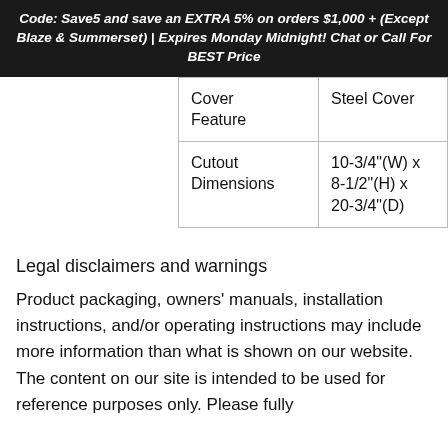Code: Save5 and save an EXTRA 5% on orders $1,000 + (Except Blaze & Summerset) | Expires Monday Midnight! Chat or Call For BEST Price
| Cover Feature | Steel Cover |
| Cutout Dimensions | 10-3/4"(W) x 8-1/2"(H) x 20-3/4"(D) |
Legal disclaimers and warnings
Product packaging, owners' manuals, installation instructions, and/or operating instructions may include more information than what is shown on our website. The content on our site is intended to be used for reference purposes only. Please fully